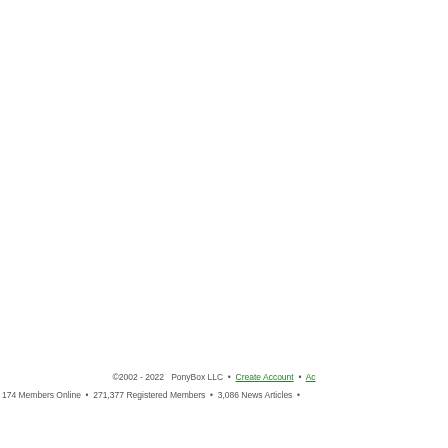©2002 - 2022  PonyBox LLC  •  Create Account  •  Ac...
174 Members Online  •  271,377 Registered Members  •  3,086 News Articles  •  ...